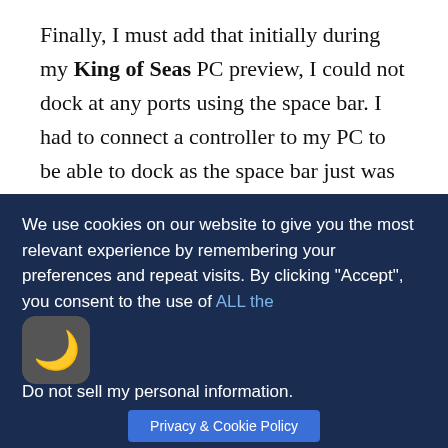Finally, I must add that initially during my King of Seas PC preview, I could not dock at any ports using the space bar. I had to connect a controller to my PC to be able to dock as the space bar just was not working.
3DClouds appear to have resolved this in a patch and I can now dock fine using the space bar. King of Seas offers a fantastic experience. It left me wanting to play more of the game to find more of the hidden little secrets. Most definitely a barrel of fun. I give King of
We use cookies on our website to give you the most relevant experience by remembering your preferences and repeat visits. By clicking "Accept", you consent to the use of ALL the
Do not sell my personal information.